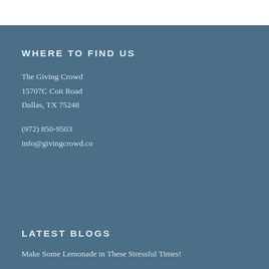WHERE TO FIND US
The Giving Crowd
15707C Coit Road
Dallas, TX 75248
(972) 850-9503
info@givingcrowd.co
LATEST BLOGS
Make Some Lemonade in These Stressful Times!